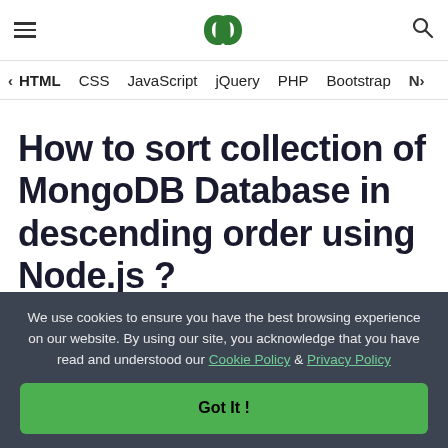GeeksforGeeks — HTML  CSS  JavaScript  jQuery  PHP  Bootstrap
How to sort collection of MongoDB Database in descending order using Node.js ?
We use cookies to ensure you have the best browsing experience on our website. By using our site, you acknowledge that you have read and understood our Cookie Policy & Privacy Policy
Got It !